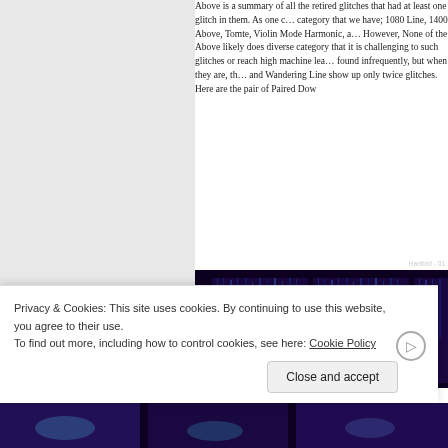Above is a summary of all the retired glitches that had at least one glitch in them. As one can see, each category that we have; 1080 Line, 1400 Line, None of the Above, Tomte, Violin Mode Harmonic, and Wandering Line. However, None of the Above likely does not work as a diverse category that it is challenging to characterize such glitches or reach high machine learning accuracy, found infrequently, but when they are, they and Wandering Line show up only twice in the retired glitches. Here are the pair of Paired Dow
[Figure (other): Spectrogram images labeled Hanford - 01, showing frequency (Hz) vs time plots with dark purple background and yellow/cyan highlighted regions indicating gravitational wave glitch signatures]